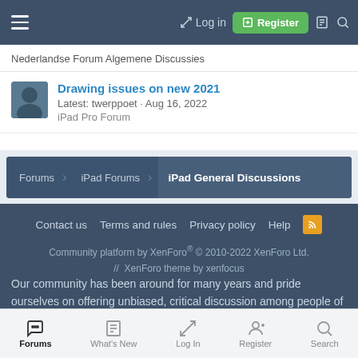≡  → Log in  ⊞ Register
Nederlandse Forum Algemene Discussies
Drawing issues on new 2021
Latest: twerppoet · Aug 16, 2022
iPad Pro Forum
Forums > iPad Forums > iPad General Discussions
Contact us  Terms and rules  Privacy policy  Help  RSS
Community platform by XenForo® © 2010-2022 XenForo Ltd.
// XenForo theme by xenfocus
Our community has been around for many years and pride ourselves on offering unbiased, critical discussion among people of all different backgrounds. We are working every day to make sure our iPad community is one of the best. iPadForums.net is not affiliated with Apple.
Forums  What's New  Log In  Register  Search